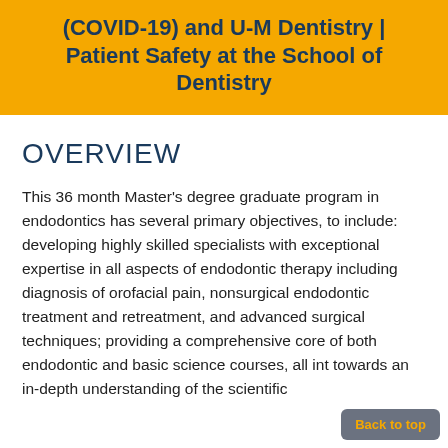(COVID-19) and U-M Dentistry | Patient Safety at the School of Dentistry
OVERVIEW
This 36 month Master's degree graduate program in endodontics has several primary objectives, to include: developing highly skilled specialists with exceptional expertise in all aspects of endodontic therapy including diagnosis of orofacial pain, nonsurgical endodontic treatment and retreatment, and advanced surgical techniques; providing a comprehensive core of both endodontic and basic science courses, all into towards an in-depth understanding of the scientific